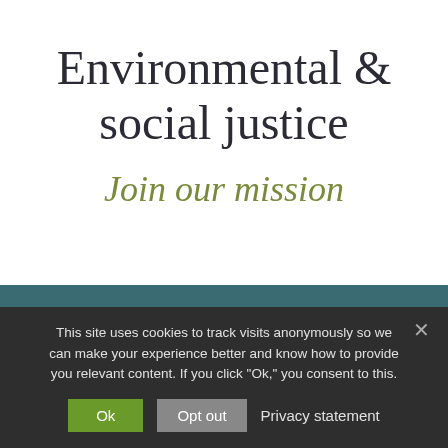Environmental & social justice
Join our mission
This site uses cookies to track visits anonymously so we can make your experience better and know how to provide you relevant content. If you click "Ok," you consent to this.
Ok   Opt out   Privacy statement